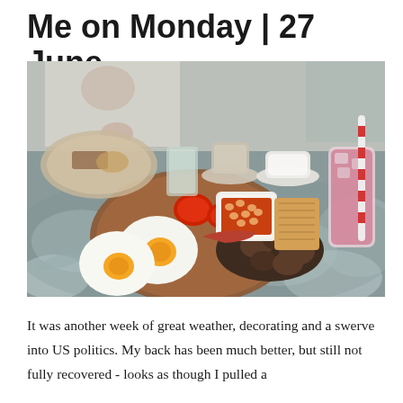Me on Monday | 27 June
[Figure (photo): A full English breakfast plate on a patterned floral tablecloth outdoors. The plate contains two fried eggs, roasted tomatoes, a white cup of baked beans, toast, mushrooms, and bacon. Beside the plate is a cup and saucer, a glass tumbler, and a pink/red iced drink with a red and white striped straw. In the background, another person and more food and drinks are visible.]
It was another week of great weather, decorating and a swerve into US politics. My back has been much better, but still not fully recovered - looks as though I pulled a